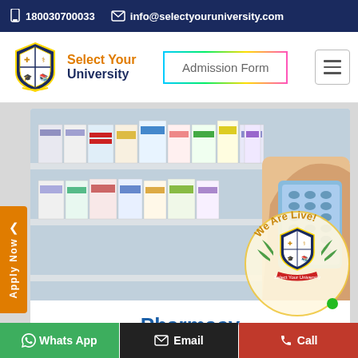180030700033  info@selectyouruniversity.com
Select Your University
Admission Form
[Figure (photo): Pharmacy shelves with medicine boxes and a hand holding pill blister packs]
Pharmacy
[Figure (photo): Medical items including stethoscope, apple, and pills partially visible]
[Figure (logo): We Are Live! badge with Select Your University shield logo]
Whats App  Email  Call